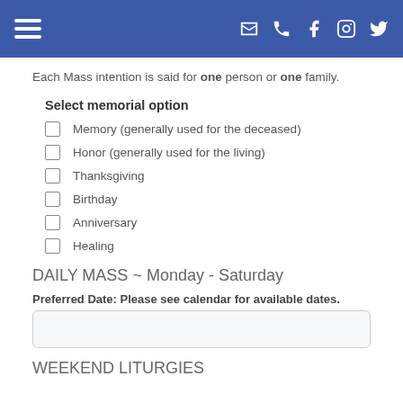Navigation header with hamburger menu and social/contact icons
Each Mass intention is said for one person or one family.
Select memorial option
Memory (generally used for the deceased)
Honor (generally used for the living)
Thanksgiving
Birthday
Anniversary
Healing
DAILY MASS ~ Monday - Saturday
Preferred Date: Please see calendar for available dates.
WEEKEND LITURGIES